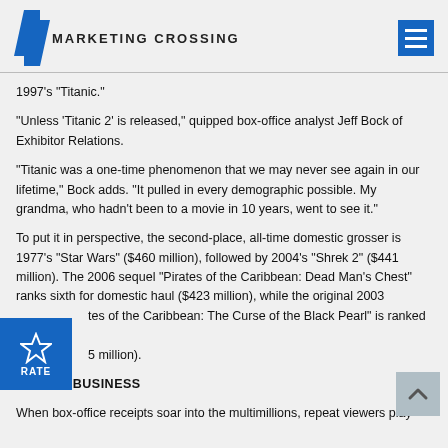MARKETING CROSSING
1997's "Titanic."
"Unless 'Titanic 2' is released," quipped box-office analyst Jeff Bock of Exhibitor Relations.
"Titanic was a one-time phenomenon that we may never see again in our lifetime," Bock adds. "It pulled in every demographic possible. My grandma, who hadn't been to a movie in 10 years, went to see it."
To put it in perspective, the second-place, all-time domestic grosser is 1977's "Star Wars" ($460 million), followed by 2004's "Shrek 2" ($441 million). The 2006 sequel "Pirates of the Caribbean: Dead Man's Chest" ranks sixth for domestic haul ($423 million), while the original 2003 ...tes of the Caribbean: The Curse of the Black Pearl" is ranked 22 ...5 million).
[Figure (other): Rate badge with star icon and RATE label in blue]
REPEAT BUSINESS
When box-office receipts soar into the multimillions, repeat viewers play
[Figure (other): Scroll to top button with upward arrow]